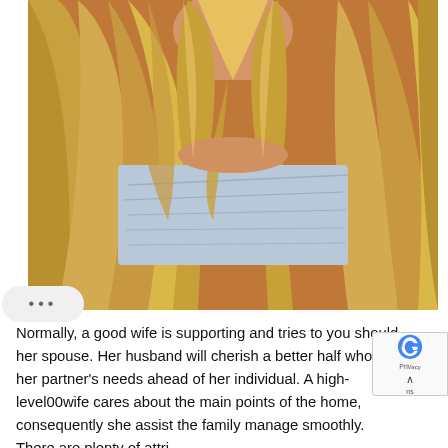[Figure (photo): Close-up photo of a person with long blonde hair wearing a light blue/grey strapless or bandeau top, shot from neck/chin down to torso. Hair falls over shoulders. Background is warm reddish-brown tones.]
Normally, a good wife is supporting and tries to you should her spouse. Her husband will cherish a better half who sets her partner's needs ahead of her individual. A high-level00wife cares about the main points of the home, consequently she assist the family manage smoothly. There are plenty of attri superb better half has that a partner will want. So, the very next